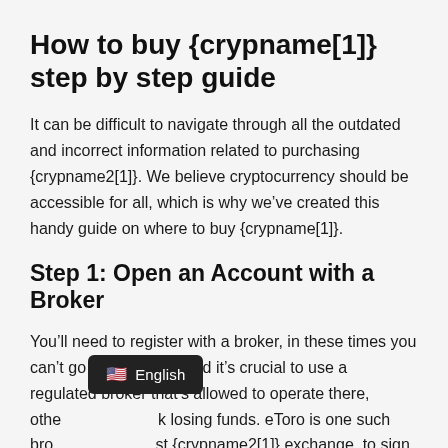How to buy {crypname[1]} step by step guide
It can be difficult to navigate through all the outdated and incorrect information related to purchasing {crypname2[1]}. We believe cryptocurrency should be accessible for all, which is why we’ve created this handy guide on where to buy {crypname[1]}.
Step 1: Open an Account with a Broker
You’ll need to register with a broker, in these times you can’t go without once and it’s crucial to use a regulated broker that’s allowed to operate there, otherwise you risk losing funds. eToro is one such bro... ...st {crypname2[1]} exchange, to sign